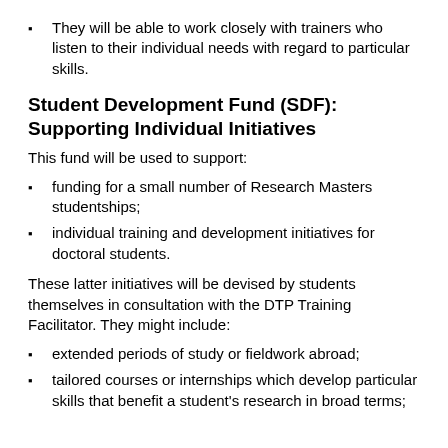They will be able to work closely with trainers who listen to their individual needs with regard to particular skills.
Student Development Fund (SDF): Supporting Individual Initiatives
This fund will be used to support:
funding for a small number of Research Masters studentships;
individual training and development initiatives for doctoral students.
These latter initiatives will be devised by students themselves in consultation with the DTP Training Facilitator. They might include:
extended periods of study or fieldwork abroad;
tailored courses or internships which develop particular skills that benefit a student's research in broad terms;